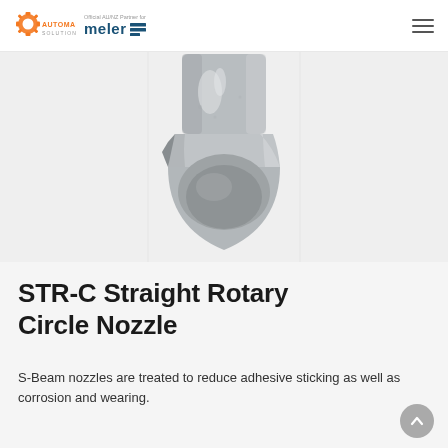Automaint Solutions — Official AU/NZ Partner for Meler
[Figure (photo): Close-up photo of a metallic STR-C Straight Rotary Circle Nozzle component, showing a rounded bullet-shaped metal tip with a concave circular opening at the bottom, silver-gray in color, on a white/light gray background.]
STR-C Straight Rotary Circle Nozzle
S-Beam nozzles are treated to reduce adhesive sticking as well as corrosion and wearing.